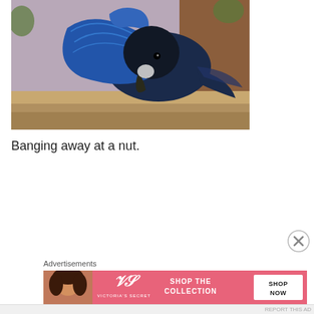[Figure (photo): A blue-black bird (Steller's Jay or similar) bending its head down onto a wooden surface, appearing to bang or peck at a nut. Background shows a purple/mauve wall and brown wooden structure.]
Banging away at a nut.
[Figure (other): Close (X) button circle icon]
Advertisements
[Figure (other): Victoria's Secret advertisement banner: woman with curly hair on left, VS logo in center, text 'SHOP THE COLLECTION', white button 'SHOP NOW' on right, pink background.]